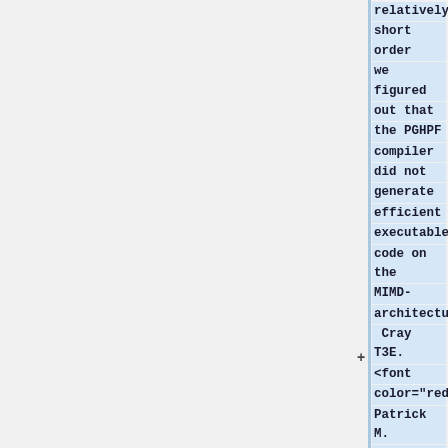relatively short order we figured out that the PGHPF compiler did not generate efficient executable code on the MIMD-architecture Cray T3E. <font color="red"> Patrick M. Motl</font> rewrote the CFD code using explicit